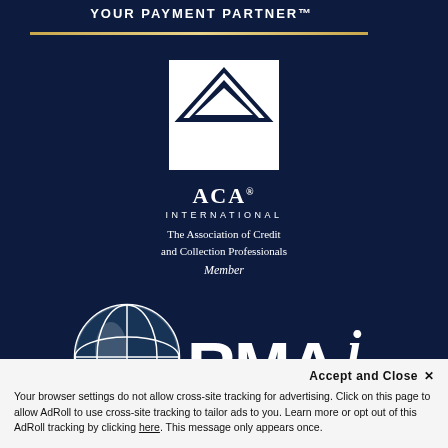[Figure (logo): Top banner with text 'YOUR PAYMENT PARTNER' and gold horizontal line beneath]
[Figure (logo): ACA International logo — white triangle/house shape on square, with text ACA INTERNATIONAL The Association of Credit and Collection Professionals Member]
[Figure (logo): RMAi logo — globe icon with RMAi text, Receivables Management Association]
Accept and Close ×
Your browser settings do not allow cross-site tracking for advertising. Click on this page to allow AdRoll to use cross-site tracking to tailor ads to you. Learn more or opt out of this AdRoll tracking by clicking here. This message only appears once.